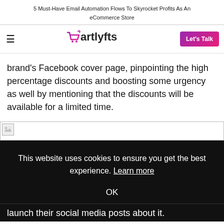5 Must-Have Email Automation Flows To Skyrocket Profits As An eCommerce Store
[Figure (logo): Cartlyfts logo with shopping cart icon in purple/magenta gradient and text 'artlyfts']
brand's Facebook cover page, pinpointing the high percentage discounts and boosting some urgency as well by mentioning that the discounts will be available for a limited time.
[Figure (photo): Broken image placeholder thumbnail]
This website uses cookies to ensure you get the best experience. Learn more
OK
launch their social media posts about it.